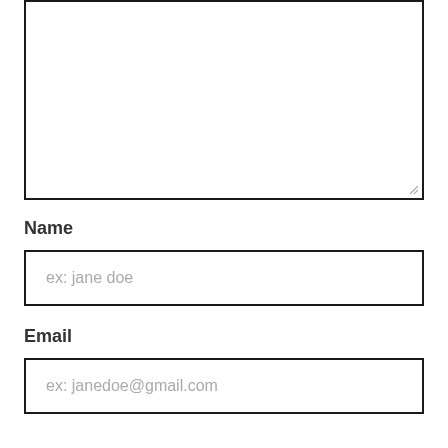[Figure (other): Large empty text area input box with resize handle at bottom right]
Name
ex: jane doe
Email
ex: janedoe@gmail.com